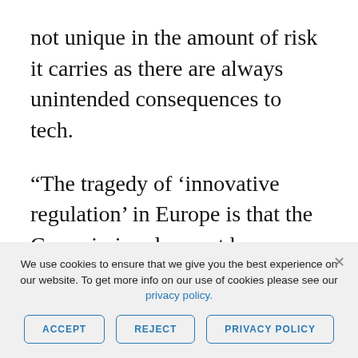not unique in the amount of risk it carries as there are always unintended consequences to tech.
“The tragedy of ‘innovative regulation’ in Europe is that the Commission does not have enough power to take swift tertiary action, subordinate legislation where there is a new problem. Thus, a sectoral approach
We use cookies to ensure that we give you the best experience on our website. To get more info on our use of cookies please see our privacy policy.